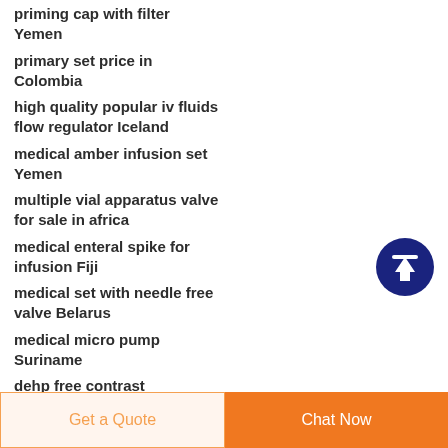priming cap with filter Yemen
primary set price in Colombia
high quality popular iv fluids flow regulator Iceland
medical amber infusion set Yemen
multiple vial apparatus valve for sale in africa
medical enteral spike for infusion Fiji
medical set with needle free valve Belarus
medical micro pump Suriname
dehp free contrast